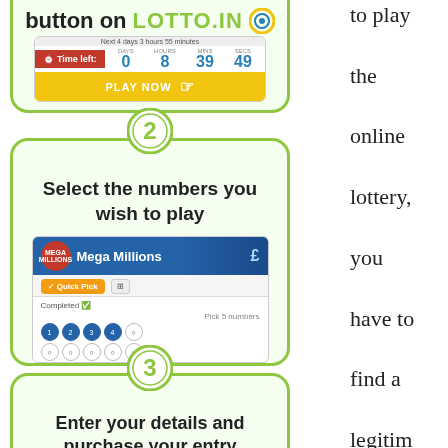[Figure (infographic): Step-by-step infographic showing how to play online lottery. Step 1: button on LOTTO.IN with countdown widget and PLAY NOW button. Step 2: Select the numbers you wish to play, with Mega Millions number picker screenshot. Step 3: Enter your details and purchase your entry, with SSL Secured Payment notice.]
to play the online lottery, you have to find a legitimate site. You can